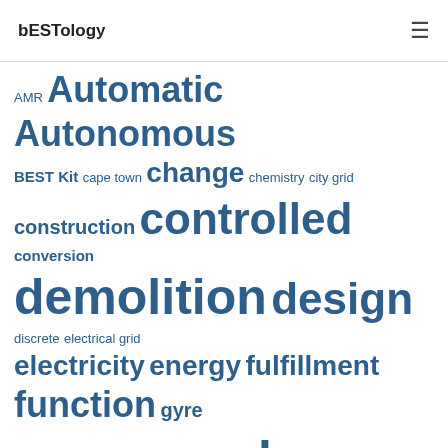bESTology
[Figure (infographic): Tag cloud of keywords in various sizes and weights, all in blue color, including: AMR, Automatic, Autonomous, BEST Kit, cape town, change, chemistry, city grid, construction, controlled, conversion, demolition, design, discrete, electrical grid, electricity, energy, fulfillment, function, gyre, gyroscopes, human body systems, human interaction, hybrid, landfills, mapping, materials, methods, modernize, natural resources, navigation, NOAA, non-renewable, orientation, OSHA, quality, recycle, renewable, resources]